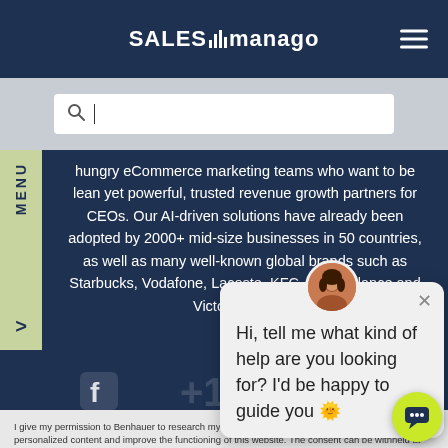[Figure (logo): SALESmanago logo with bar chart icon in white on dark navy background, with hamburger menu icon on right]
[Figure (screenshot): Search bar input field with magnifying glass icon on grey background]
hungry eCommerce marketing teams who want to be lean yet powerful, trusted revenue growth partners for CEOs. Our AI-driven solutions have already been adopted by 2000+ mid-size businesses in 50 countries, as well as many well-known global brands such as Starbucks, Vodafone, Lacoste, KFC, New Balance and Victoria's Secret
[Figure (screenshot): Chat popup with avatar showing female person, close button, and message: Hi, tell me what kind of help are you looking for? I'd be happy to guide you]
Hi, tell me what kind of help are you looking for? I'd be happy to guide you 🙂
I give my permission to Benhauer to research my preferences which will facilitate conveying personalized content and improve the functioning of this website. The consent can be withheld at any time by sending an email or changing the browser settings.
Madrid | Warsaw